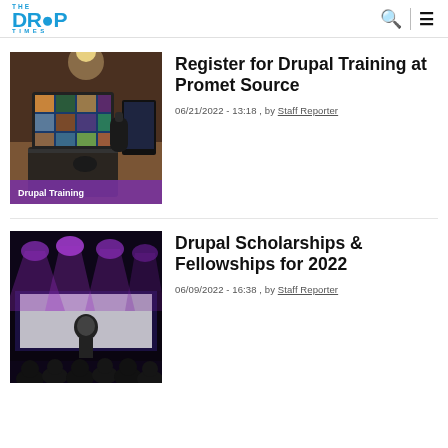The Drop Times
[Figure (photo): Laptop on desk with screens showing video call, dark cylindrical speaker, mouse. Label: Drupal Training]
Register for Drupal Training at Promet Source
06/21/2022 - 13:18 , by Staff Reporter
[Figure (photo): Stage with purple spotlights and a speaker presenting to audience in dark event venue]
Drupal Scholarships & Fellowships for 2022
06/09/2022 - 16:38 , by Staff Reporter